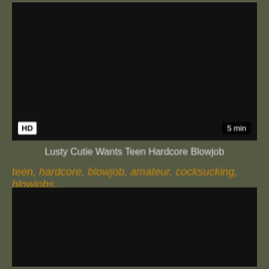[Figure (screenshot): Dark video thumbnail with HD badge bottom-left and '5 min' duration badge bottom-right]
Lusty Cutie Wants Teen Hardcore Blowjob
teen, hardcore, blowjob, amateur, cocksucking, blowjobs,...
[Figure (screenshot): Dark video thumbnail at bottom of page]